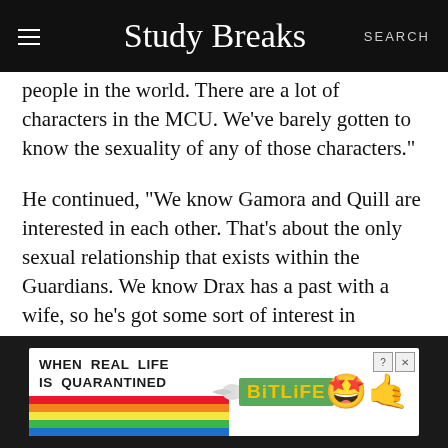Study Breaks   SEARCH
people in the world. There are a lot of characters in the MCU. We’ve barely gotten to know the sexuality of any of those characters.”
He continued, “We know Gamora and Quill are interested in each other. That’s about the only sexual relationship that exists within the Guardians. We know Drax has a past with a wife, so he’s got some sort of interest in women. But we don’t really know who’s gay and who’s not. It could be any of them.”
[Figure (screenshot): BitLife advertisement banner: rainbow background on left with text WHEN REAL LIFE IS QUARANTINED, BitLife yellow logo in center-right, emoji icons of star-eyed face and thumbs up on right, question mark and X buttons in top right corner]